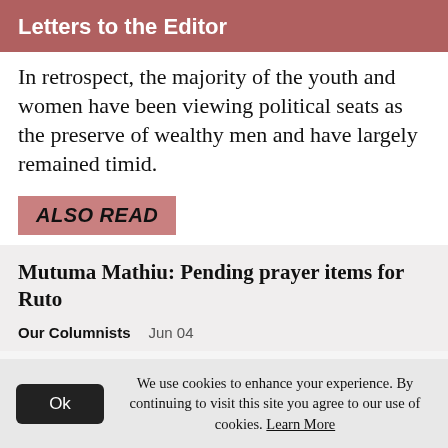Letters to the Editor
In retrospect, the majority of the youth and women have been viewing political seats as the preserve of wealthy men and have largely remained timid.
ALSO READ
Mutuma Mathiu: Pending prayer items for Ruto
Our Columnists   Jun 04
We use cookies to enhance your experience. By continuing to visit this site you agree to our use of cookies. Learn More